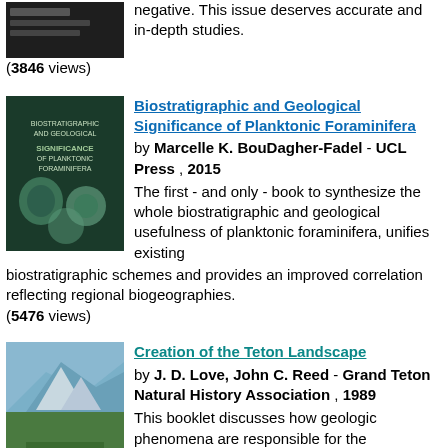negative. This issue deserves accurate and in-depth studies.
(3846 views)
Biostratigraphic and Geological Significance of Planktonic Foraminifera
by Marcelle K. BouDagher-Fadel - UCL Press , 2015
The first - and only - book to synthesize the whole biostratigraphic and geological usefulness of planktonic foraminifera, unifies existing biostratigraphic schemes and provides an improved correlation reflecting regional biogeographies.
(5476 views)
Creation of the Teton Landscape
by J. D. Love, John C. Reed - Grand Teton Natural History Association , 1989
This booklet discusses how geologic phenomena are responsible for the magnificent scenery of the Teton region. It is a colorfully illustrated look at the park's geologic makeup, includes colorful back-